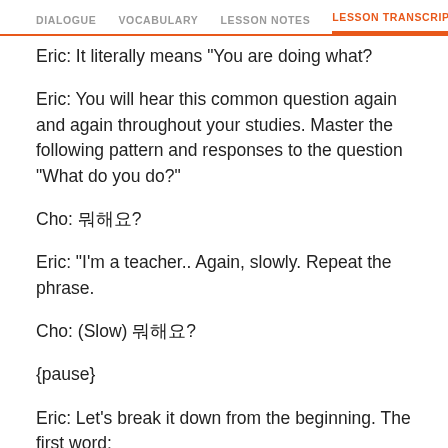DIALOGUE   VOCABULARY   LESSON NOTES   LESSON TRANSCRIPT
Eric: It literally means "You are doing what?"
Eric: You will hear this common question again and again throughout your studies. Master the following pattern and responses to the question "What do you do?"
Cho: 뭐해요?
Eric: "I'm a teacher.. Again, slowly. Repeat the phrase.
Cho: (Slow) 뭐해요?
{pause}
Eric: Let's break it down from the beginning. The first word: